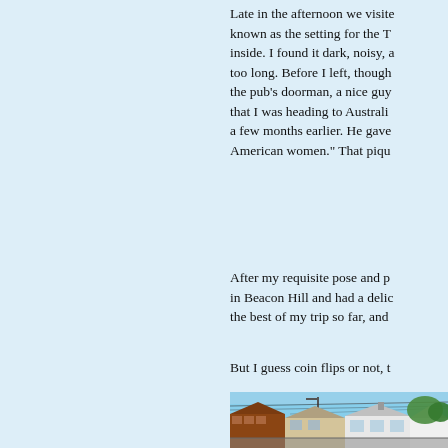Late in the afternoon we visite known as the setting for the T inside. I found it dark, noisy, a too long. Before I left, though the pub's doorman, a nice guy that I was heading to Australi a few months earlier. He gave American women." That piqu
After my requisite pose and p in Beacon Hill and had a delic the best of my trip so far, and
But I guess coin flips or not, t
[Figure (photo): Street scene showing residential buildings with brick and white facades, a street lamp, utility wires, and trees in the background under a blue sky.]